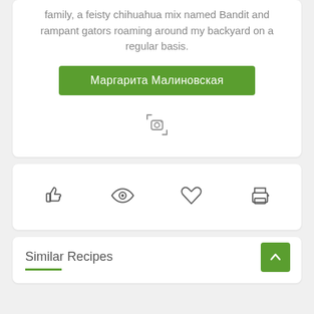family, a feisty chihuahua mix named Bandit and rampant gators roaming around my backyard on a regular basis.
Маргарита Малиновская
[Figure (other): Instagram icon (camera outline with corner marks)]
[Figure (other): Four action icons: thumbs up (like), eye (view), heart (favorite), printer (print)]
Similar Recipes